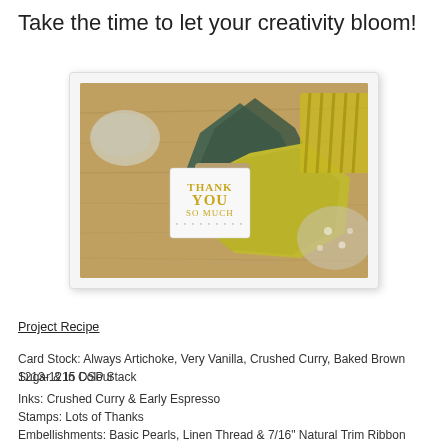Take the time to let your creativity bloom!
[Figure (photo): Overhead photo of handmade paper craft project showing layered die-cut shapes in Always Artichoke (dark green), Crushed Curry (yellow-green), and Baked Brown Sugar (tan/beige) colors on a wood-grain background, with a white card stamped 'THANK YOU SO MUCH' in gold, ribbon and embellishments, watermark text at bottom.]
Project Recipe
Card Stock: Always Artichoke, Very Vanilla, Crushed Curry, Baked Brown Sugar & In Colour
1213-1215 DSP Stack
Inks: Crushed Curry & Early Espresso
Stamps: Lots of Thanks
Embellishments: Basic Pearls, Linen Thread & 7/16" Natural Trim Ribbon